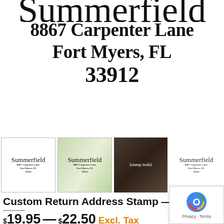[Figure (illustration): Large preview of a custom return address stamp showing cursive 'Summerfield' script (partially cropped at top) above bold serif address text: '8867 Carpenter Lane / Fort Myers, FL / 33912']
[Figure (photo): Row of four product thumbnail images for the custom return address stamp: first shows stamp on white background, second on leaf/botanical background, third shows stamp tools on dark surface, fourth shows stamp on white background (no border)]
Custom Return Address Stamp — NW17
$19.95 — $22.50 Excl. Tax